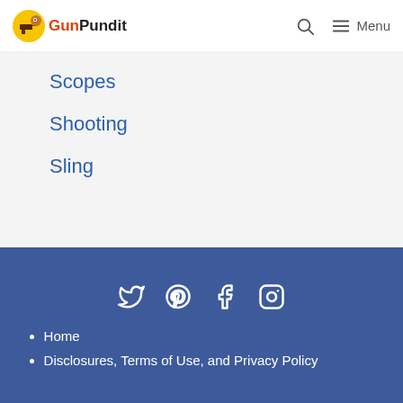GunPundit — Menu
Scopes
Shooting
Sling
Social icons: Twitter, Pinterest, Facebook, Instagram. Home. Disclosures, Terms of Use, and Privacy Policy